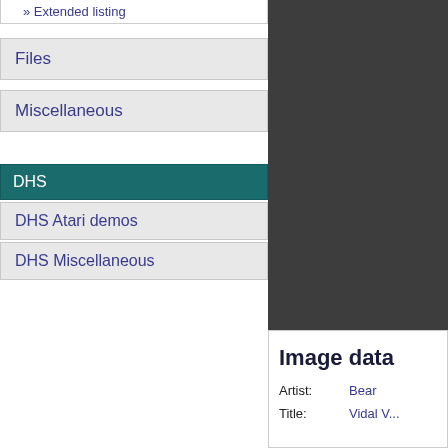» Extended listing
Files
Miscellaneous
DHS
DHS Atari demos
DHS Miscellaneous
Image data
Artist: Bear
Title: Vidal V...